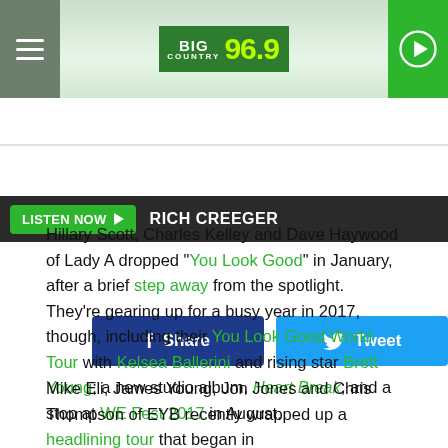Big Country 96.9
LISTEN NOW  RICH CREEGER
[Figure (other): Facebook Share button and Twitter Tweet button]
Hillary Scott, Charles Kelley and Dave Haywood of Lady A dropped "You Look Good" in January, after a brief step away from the spotlight. They're gearing up for a busy year in 2017, though, including their You Look Good World Tour with Kelsea Ballerini and rising star Brett Young; a new studio album, Heart Break; and a stop at WE Fest 2017 in August.
Mike Eli, James Young, Jon Jones and Chris Thompson of EYB recently wrapped up a headlining tour that began in